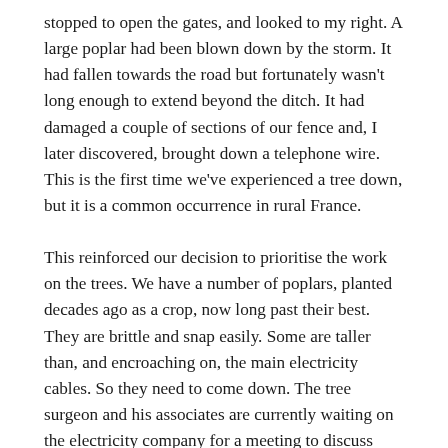stopped to open the gates, and looked to my right. A large poplar had been blown down by the storm. It had fallen towards the road but fortunately wasn't long enough to extend beyond the ditch. It had damaged a couple of sections of our fence and, I later discovered, brought down a telephone wire. This is the first time we've experienced a tree down, but it is a common occurrence in rural France.
This reinforced our decision to prioritise the work on the trees. We have a number of poplars, planted decades ago as a crop, now long past their best. They are brittle and snap easily. Some are taller than, and encroaching on, the main electricity cables. So they need to come down. The tree surgeon and his associates are currently waiting on the electricity company for a meeting to discuss safety given the proximity of electrical cables.